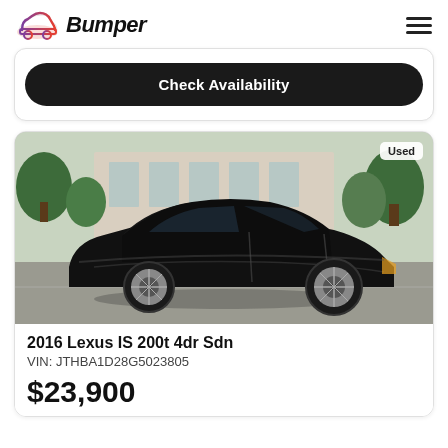Bumper
Check Availability
[Figure (photo): Black 2016 Lexus IS 200t 4dr Sedan parked in a lot, photographed from the side, with green trees and a building in the background. A 'Used' badge is shown in the top right corner of the image.]
2016 Lexus IS 200t 4dr Sdn
VIN: JTHBA1D28G5023805
$23,900